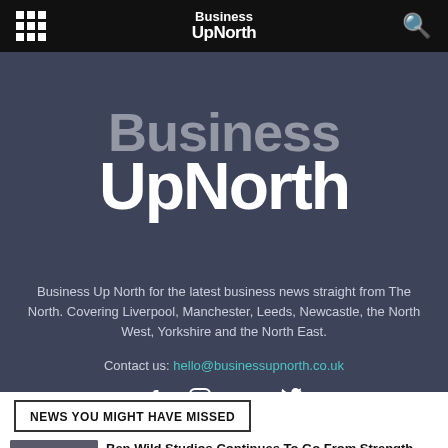Business UpNorth
[Figure (logo): Business UpNorth large logo text on dark blue-grey background]
Business Up North for the latest business news straight from The North. Covering Liverpool, Manchester, Leeds, Newcastle, the North West, Yorkshire and the North East.
Contact us: hello@businessupnorth.co.uk
[Figure (infographic): Social media icons: Facebook, Instagram, LinkedIn, Twitter]
NEWS YOU MIGHT HAVE MISSED
Ben Wild Studios Continues To Go From Strength To Strength As...